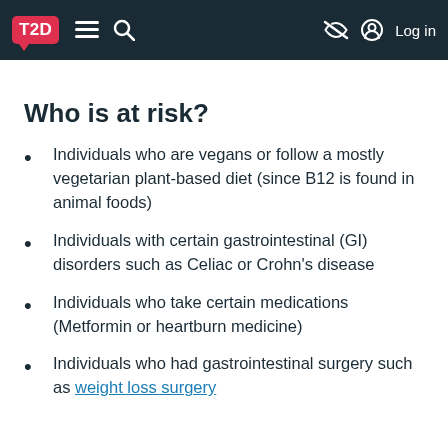T2D [menu] [search] [no-icon] Log in
Who is at risk?
Individuals who are vegans or follow a mostly vegetarian plant-based diet (since B12 is found in animal foods)
Individuals with certain gastrointestinal (GI) disorders such as Celiac or Crohn's disease
Individuals who take certain medications (Metformin or heartburn medicine)
Individuals who had gastrointestinal surgery such as weight loss surgery